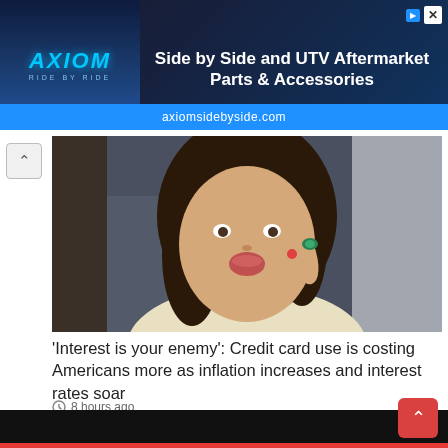[Figure (other): AXIOM ride by ride advertisement banner for Side by Side and UTV Aftermarket Parts & Accessories at axiomsidebyside.com]
[Figure (photo): A smiling woman with dark brown wavy hair wearing a light yellow top, holding her hand up near her ear with a green ring, seated in what appears to be a restaurant setting]
'Interest is your enemy': Credit card use is costing Americans more as inflation increases and interest rates soar
8 hours ago
[Figure (other): Dark/black video player block at the bottom of the page]